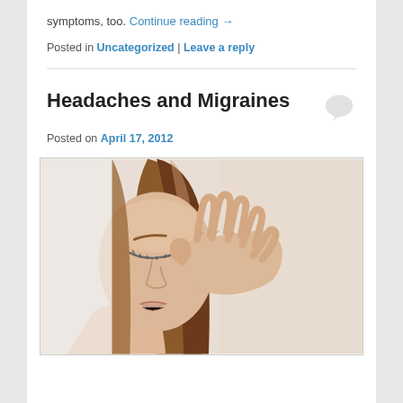symptoms, too. Continue reading →
Posted in Uncategorized | Leave a reply
Headaches and Migraines
Posted on April 17, 2012
[Figure (photo): Photo of a woman pressing her fingers to her temple, eyes closed, appearing to suffer from a headache or migraine]